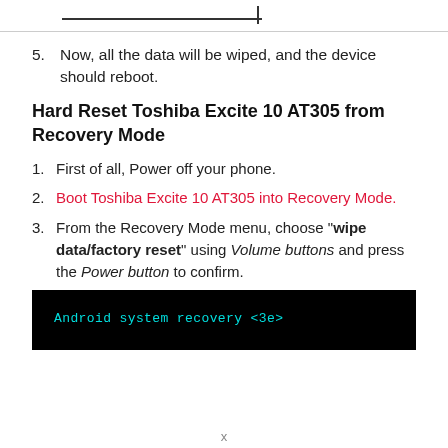5. Now, all the data will be wiped, and the device should reboot.
Hard Reset Toshiba Excite 10 AT305 from Recovery Mode
1. First of all, Power off your phone.
2. Boot Toshiba Excite 10 AT305 into Recovery Mode.
3. From the Recovery Mode menu, choose "wipe data/factory reset" using Volume buttons and press the Power button to confirm.
[Figure (screenshot): Black terminal screen showing: Android system recovery <3e> in cyan monospace text]